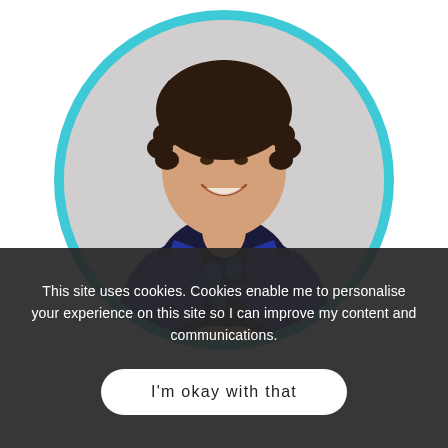[Figure (photo): A woman with curly dark hair, smiling, wearing a blue cardigan over a dark polka-dot top, seated with hands clasped, displayed in a circular frame with a teal/cyan border ring, on a light grey background.]
This site uses cookies. Cookies enable me to personalise your experience on this site so I can improve my content and communications.
I'm okay with that